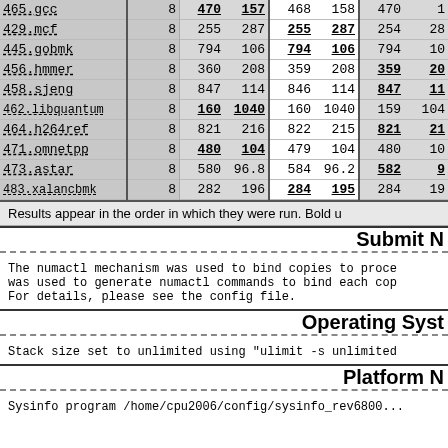| Benchmark | Copies | Run1Base | Run1Peak | Run2Base | Run2Peak | Run3Base | Run3Peak |
| --- | --- | --- | --- | --- | --- | --- | --- |
| 465.gcc | 8 | 470 | 157 | 468 | 158 | 470 | 1... |
| 429.mcf | 8 | 255 | 287 | 255 | 287 | 254 | 28... |
| 445.gobmk | 8 | 794 | 106 | 794 | 106 | 794 | 10... |
| 456.hmmer | 8 | 360 | 208 | 359 | 208 | 359 | 20... |
| 458.sjeng | 8 | 847 | 114 | 846 | 114 | 847 | 11... |
| 462.libquantum | 8 | 160 | 1040 | 160 | 1040 | 159 | 104... |
| 464.h264ref | 8 | 821 | 216 | 822 | 215 | 821 | 21... |
| 471.omnetpp | 8 | 480 | 104 | 479 | 104 | 480 | 10... |
| 473.astar | 8 | 580 | 96.8 | 584 | 96.2 | 582 | 9... |
| 483.xalancbmk | 8 | 282 | 196 | 284 | 195 | 284 | 19... |
Results appear in the order in which they were run. Bold u...
Submit Notes
The numactl mechanism was used to bind copies to processes was used to generate numactl commands to bind each copy. For details, please see the config file.
Operating System Notes
Stack size set to unlimited using "ulimit -s unlimited...
Platform Notes
Sysinfo program /home/cpu2006/config/sysinfo_rev6800...